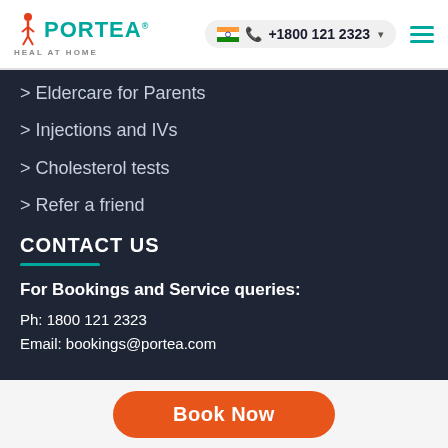PORTEA HEAL AT HOME | +1800 121 2323
Eldercare for Parents
Injections and IVs
Cholesterol tests
Refer a friend
CONTACT US
For Bookings and Service queries:
Ph: 1800 121 2323
Email: bookings@portea.com
Book Now